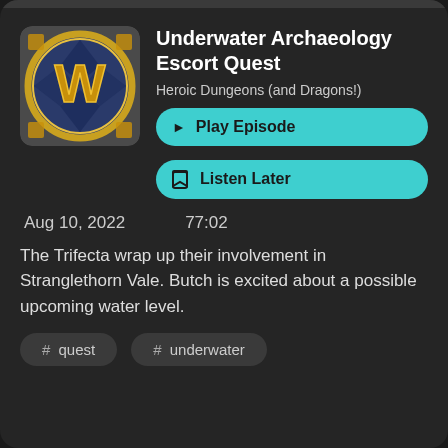[Figure (logo): World of Warcraft golden W logo on blue/dark background, circular gold border, square with rounded corners]
Underwater Archaeology Escort Quest
Heroic Dungeons (and Dragons!)
▶ Play Episode
🔖 Listen Later
Aug 10, 2022    77:02
The Trifecta wrap up their involvement in Stranglethorn Vale. Butch is excited about a possible upcoming water level.
# quest
# underwater